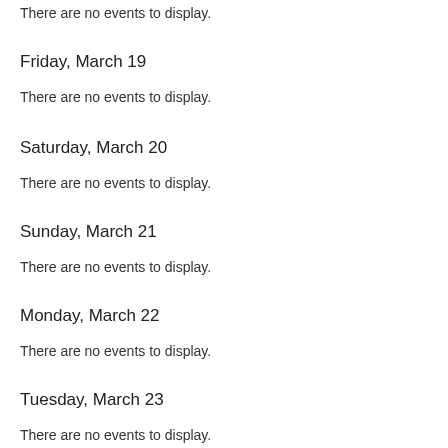There are no events to display.
Friday, March 19
There are no events to display.
Saturday, March 20
There are no events to display.
Sunday, March 21
There are no events to display.
Monday, March 22
There are no events to display.
Tuesday, March 23
There are no events to display.